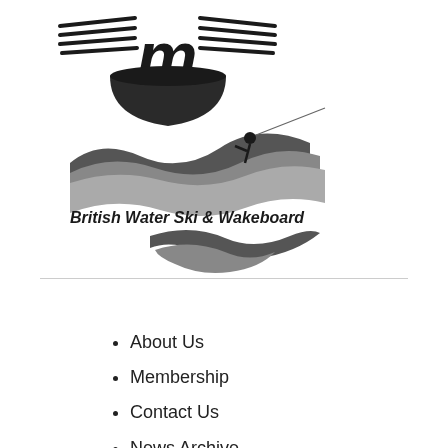[Figure (logo): British Water Ski & Wakeboard logo with a stylized 'M' with wings at top, a trophy/bowl shape, a water skier figure with flowing water waves, and the text 'British Water Ski & Wakeboard' below]
About Us
Membership
Contact Us
News Archive